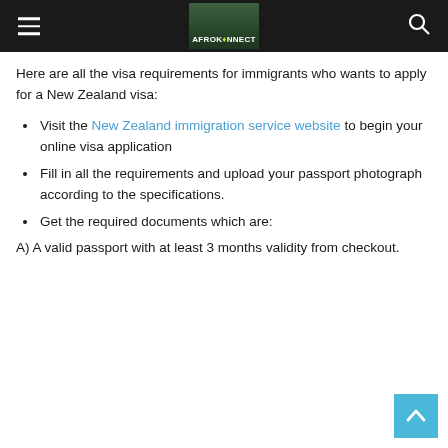AFROKONNECT
Here are all the visa requirements for immigrants who wants to apply for a New Zealand visa:
Visit the New Zealand immigration service website to begin your online visa application
Fill in all the requirements and upload your passport photograph according to the specifications.
Get the required documents which are:
A) A valid passport with at least 3 months validity from checkout.